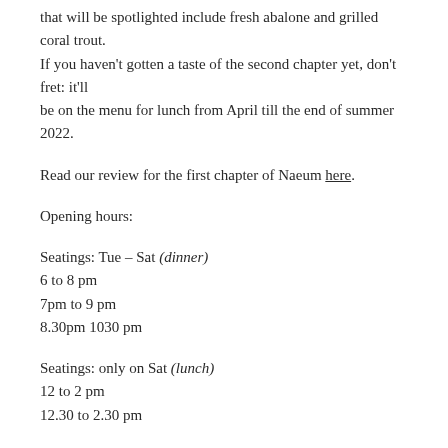that will be spotlighted include fresh abalone and grilled coral trout. If you haven't gotten a taste of the second chapter yet, don't fret: it'll be on the menu for lunch from April till the end of summer 2022.
Read our review for the first chapter of Naeum here.
Opening hours:
Seatings: Tue – Sat (dinner)
6 to 8 pm
7pm to 9 pm
8.30pm 1030 pm
Seatings: only on Sat (lunch)
12 to 2 pm
12.30 to 2.30 pm